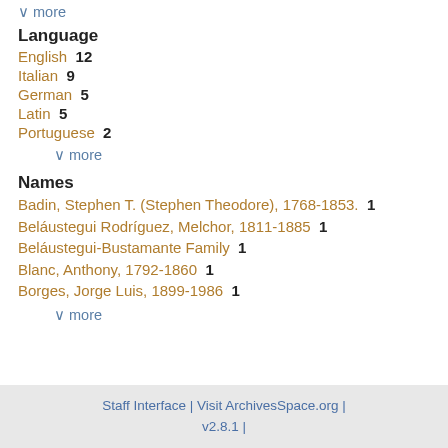∨ more
Language
English  12
Italian  9
German  5
Latin  5
Portuguese  2
∨ more
Names
Badin, Stephen T. (Stephen Theodore), 1768-1853.  1
Beláustegui Rodríguez, Melchor, 1811-1885  1
Beláustegui-Bustamante Family  1
Blanc, Anthony, 1792-1860  1
Borges, Jorge Luis, 1899-1986  1
∨ more
Staff Interface | Visit ArchivesSpace.org | v2.8.1 |